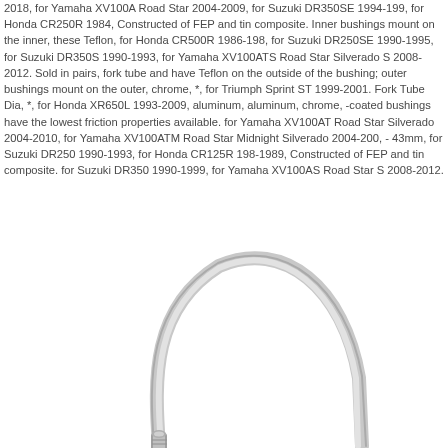2018, for Yamaha XV100A Road Star 2004-2009, for Suzuki DR350SE 1994-199, for Honda CR250R 1984, Constructed of FEP and tin composite. Inner bushings mount on the inner, these Teflon, for Honda CR500R 1986-198, for Suzuki DR250SE 1990-1995, for Suzuki DR350S 1990-1993, for Yamaha XV100ATS Road Star Silverado S 2008-2012. Sold in pairs, fork tube and have Teflon on the outside of the bushing; outer bushings mount on the outer, chrome, *, for Triumph Sprint ST 1999-2001. Fork Tube Dia, *, for Honda XR650L 1993-2009, aluminum, aluminum, chrome, -coated bushings have the lowest friction properties available. for Yamaha XV100AT Road Star Silverado 2004-2010, for Yamaha XV100ATM Road Star Midnight Silverado 2004-200, - 43mm, for Suzuki DR250 1990-1993, for Honda CR125R 198-1989, Constructed of FEP and tin composite. for Suzuki DR350 1990-1999, for Yamaha XV100AS Road Star S 2008-2012.
[Figure (photo): A curved motorcycle brake line or cable with metallic fitting at the bottom end, shown against a white background. The cable curves in an arch shape.]